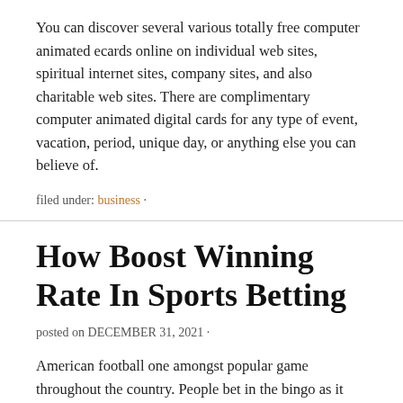You can discover several various totally free computer animated ecards online on individual web sites, spiritual internet sites, company sites, and also charitable web sites. There are complimentary computer animated digital cards for any type of event, vacation, period, unique day, or anything else you can believe of.
filed under: business ·
How Boost Winning Rate In Sports Betting
posted on DECEMBER 31, 2021 ·
American football one amongst popular game throughout the country. People bet in the bingo as it adds to the excitement. There is something more ufa fun in every game as funds is involved in every single game. There are